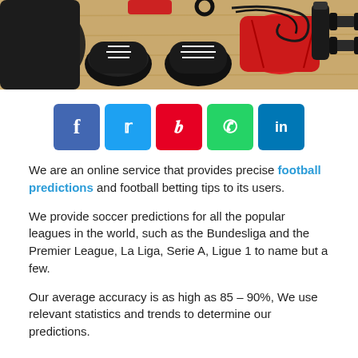[Figure (photo): Flat lay of sports equipment including black sneakers, red shorts, dumbbells, jump rope, and water bottle on a wooden floor background]
[Figure (infographic): Row of five social media share buttons: Facebook (blue), Twitter (light blue), Pinterest (red), WhatsApp (green), LinkedIn (dark blue)]
We are an online service that provides precise football predictions and football betting tips to its users.
We provide soccer predictions for all the popular leagues in the world, such as the Bundesliga and the Premier League, La Liga, Serie A, Ligue 1 to name but a few.
Our average accuracy is as high as 85 – 90%, We use relevant statistics and trends to determine our predictions.